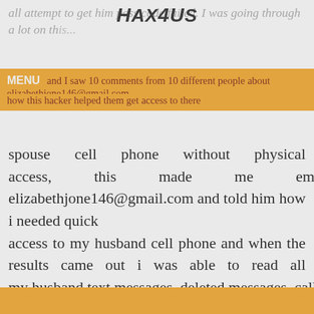Hax4Us
all attempt to get him pass code failed. I was going through a lot on this...
MENU  and I saw 10 comments from 10 different people about elizabethjone146@gmail.com how this hacker helped them get access to there spouse cell phone without physical access, this made me email elizabethjone146@gmail.com and told him how i needed quick access to my husband cell phone and when the results came out i was able to read all my husband text messages, deleted messages, call
This website uses cookies to ensure you get the best experience on our website. Learn More
Manage Cookies
Decline
Allow All
×